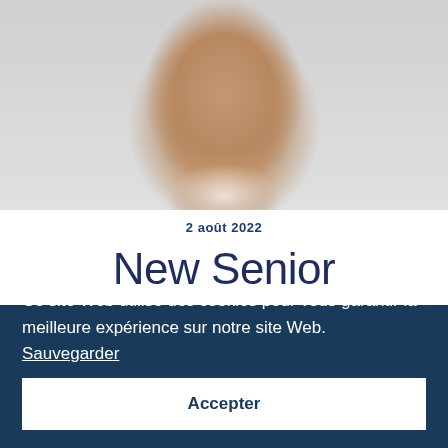[Figure (photo): Close-up photo of a smiling middle-aged man with a grey beard, wearing a light-colored jacket, photographed from chin level upward against a light grey background.]
2 août 2022
New Senior
Ce site Web utilise des cookies pour vous garantir la meilleure expérience sur notre site Web.  Sauvegarder
Accepter